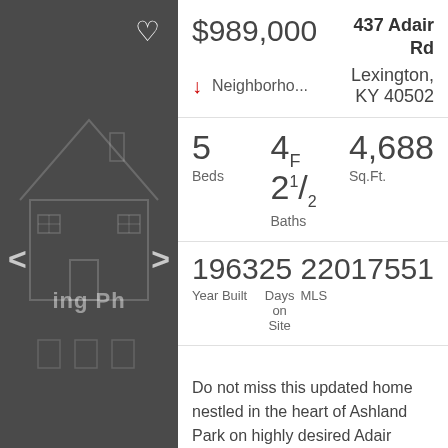[Figure (illustration): Dark gray background with house outline/schematic illustration, navigation arrows labeled < and >, and a heart icon in the top right corner]
$989,000 437 Adair Rd
↓ Neighborho... Lexington, KY 40502
| Beds | Baths | Sq.Ft. |
| --- | --- | --- |
| 5 | 4F 21/2 | 4,688 |
| Year Built | Days on Site | MLS |
| --- | --- | --- |
| 1963 | 25 | 22017551 |
Do not miss this updated home nestled in the heart of Ashland Park on highly desired Adair Road. Located near the end of the tree lined cul-de sac, this tri-level with finished basement offers